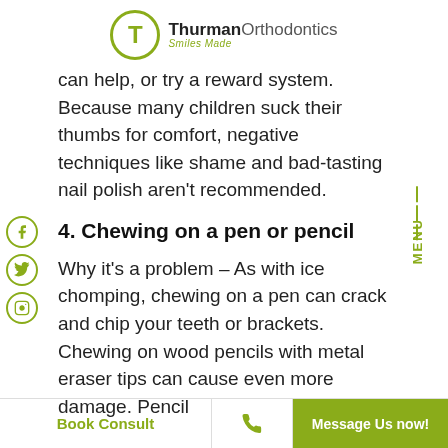[Figure (logo): Thurman Orthodontics logo with circular T icon and 'Smiles Made' tagline in olive green]
can help, or try a reward system. Because many children suck their thumbs for comfort, negative techniques like shame and bad-tasting nail polish aren't recommended.
4. Chewing on a pen or pencil
Why it's a problem – As with ice chomping, chewing on a pen can crack and chip your teeth or brackets. Chewing on wood pencils with metal eraser tips can cause even more damage. Pencil
Book Consult | [phone icon] | Message Us now!